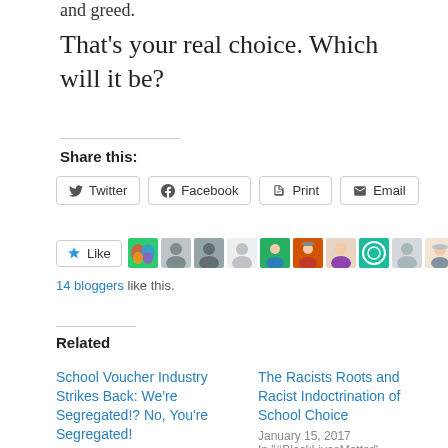and greed.
That's your real choice. Which will it be?
Share this:
Twitter | Facebook | Print | Email
[Figure (illustration): Like button and a row of 9 blogger avatar thumbnails]
14 bloggers like this.
Related
School Voucher Industry Strikes Back: We're Segregated!? No, You're Segregated!
July 25, 2017
In "#BlackLivesMatter"
The Racists Roots and Racist Indoctrination of School Choice
January 15, 2017
In "#BlackLivesMatter"